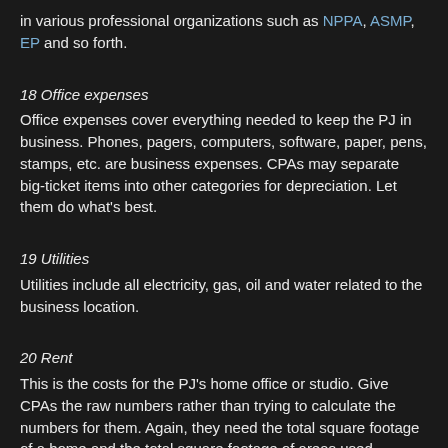in various professional organizations such as NPPA, ASMP, EP and so forth.
18 Office expenses
Office expenses cover everything needed to keep the PJ in business. Phones, pagers, computers, software, paper, pens, stamps, etc. are business expenses. CPAs may separate big-ticket items into other categories for depreciation. Let them do what's best.
19 Utilities
Utilities include all electricity, gas, oil and water related to the business location.
20 Rent
This is the costs for the PJ's home office or studio. Give CPAs the raw numbers rather than trying to calculate the numbers for them. Again, they need the total square footage of a home and the total square footage of areas used "regularly and exclusively for business or for storage of inventory or product samples."
22 Supplies
Supplies are anything directly related to producing an image. Common